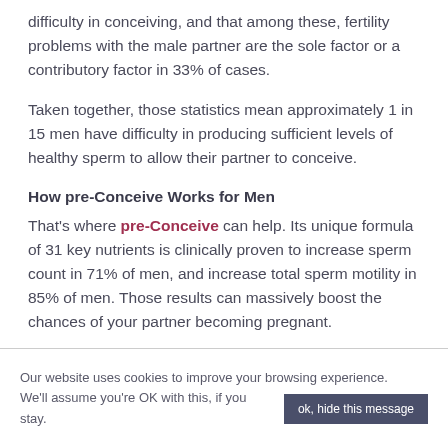difficulty in conceiving, and that among these, fertility problems with the male partner are the sole factor or a contributory factor in 33% of cases.
Taken together, those statistics mean approximately 1 in 15 men have difficulty in producing sufficient levels of healthy sperm to allow their partner to conceive.
How pre-Conceive Works for Men
That's where pre-Conceive can help. Its unique formula of 31 key nutrients is clinically proven to increase sperm count in 71% of men, and increase total sperm motility in 85% of men. Those results can massively boost the chances of your partner becoming pregnant.
Our website uses cookies to improve your browsing experience. We'll assume you're OK with this, if you stay.